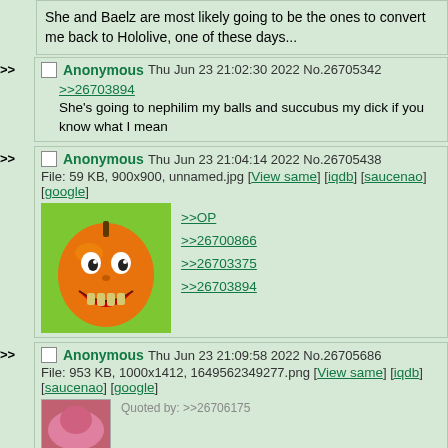She and Baelz are most likely going to be the ones to convert me back to Hololive, one of these days...
Anonymous Thu Jun 23 21:02:30 2022 No.26705342
>>26703894
She's going to nephilim my balls and succubus my dick if you know what I mean
Anonymous Thu Jun 23 21:04:14 2022 No.26705438
File: 59 KB, 900x900, unnamed.jpg [View same] [iqdb] [saucenao] [google]
>>OP
>>26700866
>>26703375
>>26703894
[Figure (photo): Annoying Orange meme image - orange with human face on green background]
Anonymous Thu Jun 23 21:09:58 2022 No.26705686
File: 953 KB, 1000x1412, 1649562349277.png [View same] [iqdb] [saucenao] [google]
Quoted by: >>26706175